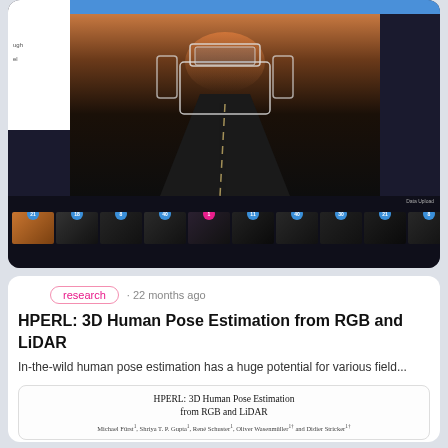[Figure (screenshot): Screenshot of a driving/LiDAR data annotation interface showing a vehicle on a road from behind, with a dark film strip of thumbnail frames at the bottom, each with numbered badges. A white panel is visible on the left side.]
research · 22 months ago
HPERL: 3D Human Pose Estimation from RGB and LiDAR
In-the-wild human pose estimation has a huge potential for various field...
[Figure (screenshot): Preview of a research paper titled 'HPERL: 3D Human Pose Estimation from RGB and LiDAR' with author names below in serif font.]